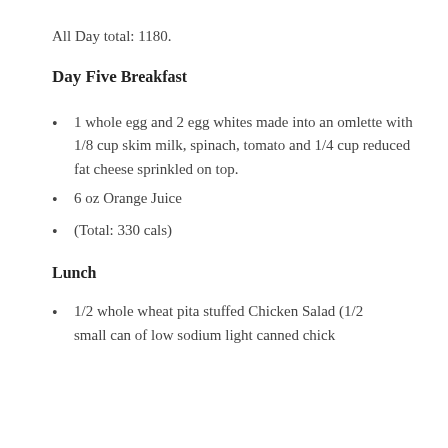All Day total: 1180.
Day Five
Breakfast
1 whole egg and 2 egg whites made into an omlette with 1/8 cup skim milk, spinach, tomato and 1/4 cup reduced fat cheese sprinkled on top.
6 oz Orange Juice
(Total: 330 cals)
Lunch
1/2 whole wheat pita stuffed Chicken Salad (1/2 small can of low sodium light canned chicken